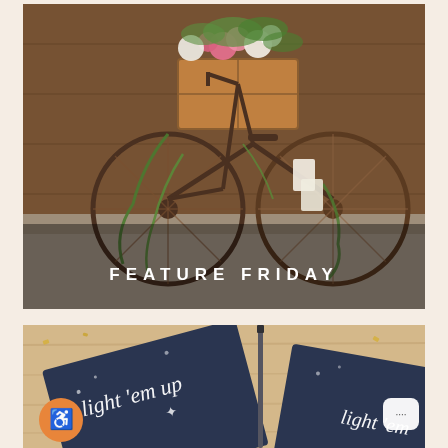[Figure (photo): A vintage bicycle decorated with pink, white flowers and trailing greenery vines, leaning against a rustic wooden barn door. A wooden crate on the front holds a floral arrangement. Text overlay reads 'FEATURE FRIDAY' in white spaced letters near the bottom of the image.]
FEATURE FRIDAY
[Figure (photo): Dark navy blue paper/bags with white handwritten script text reading 'light 'em up' with star decorations, laid on a light wood surface with gold confetti scattered around. An accessibility icon button (orange circle with white person figure) is visible in the bottom left, and a chat button (white rounded square with dots) in the bottom right.]